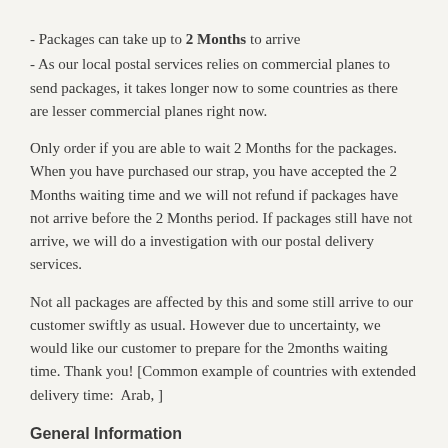- Packages can take up to 2 Months to arrive
- As our local postal services relies on commercial planes to send packages, it takes longer now to some countries as there are lesser commercial planes right now.
Only order if you are able to wait 2 Months for the packages. When you have purchased our strap, you have accepted the 2 Months waiting time and we will not refund if packages have not arrive before the 2 Months period. If packages still have not arrive, we will do a investigation with our postal delivery services.
Not all packages are affected by this and some still arrive to our customer swiftly as usual. However due to uncertainty, we would like our customer to prepare for the 2months waiting time. Thank you! [Common example of countries with extended delivery time:  Arab, ]
General Information